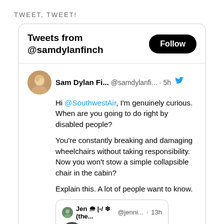TWEET, TWEET!
[Figure (screenshot): Twitter/X widget showing tweets from @samdylanfinch. Tweet by Sam Dylan Fi... (@samdylanfi...) 5h ago: 'Hi @SouthwestAir, I'm genuinely curious. When are you going to do right by disabled people? You're constantly breaking and damaging wheelchairs without taking responsibility. Now you won't stow a simple collapsible chair in the cabin? Explain this. A lot of people want to know.' With a reply card showing Jen (the... @jenni... 13h: Hey @upawayapp]